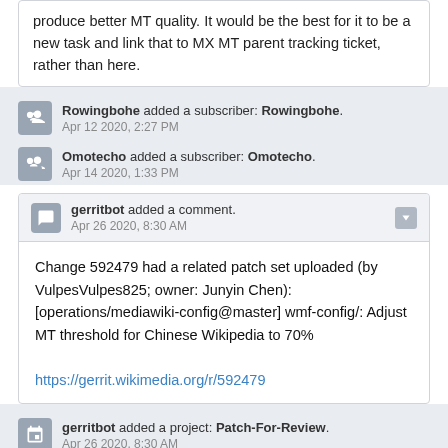produce better MT quality. It would be the best for it to be a new task and link that to MX MT parent tracking ticket, rather than here.
Rowingbohe added a subscriber: Rowingbohe. Apr 12 2020, 2:27 PM
Omotecho added a subscriber: Omotecho. Apr 14 2020, 1:33 PM
gerritbot added a comment. Apr 26 2020, 8:30 AM
Change 592479 had a related patch set uploaded (by VulpesVulpes825; owner: Junyin Chen): [operations/mediawiki-config@master] wmf-config/: Adjust MT threshold for Chinese Wikipedia to 70%
https://gerrit.wikimedia.org/r/592479
gerritbot added a project: Patch-For-Review. Apr 26 2020, 8:30 AM
VulpesVulpes825 claimed this task.